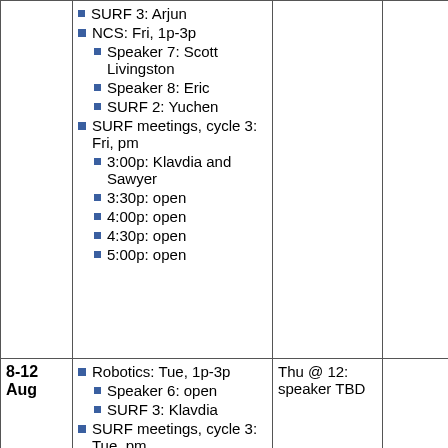| Date | Activities | Colloquium | Extra |
| --- | --- | --- | --- |
|  | SURF 3: Arjun
NCS: Fri, 1p-3p
  Speaker 7: Scott Livingston
  Speaker 8: Eric
  SURF 2: Yuchen
SURF meetings, cycle 3: Fri, pm
  3:00p: Klavdia and Sawyer
  3:30p: open
  4:00p: open
  4:30p: open
  5:00p: open |  |  |
| 8-12 Aug | Robotics: Tue, 1p-3p
  Speaker 6: open
  SURF 3: Klavdia
SURF meetings, cycle 3: Tue, pm
  3:00p: open
  3:30p: Keshav and | Thu @ 12: speaker TBD |  |